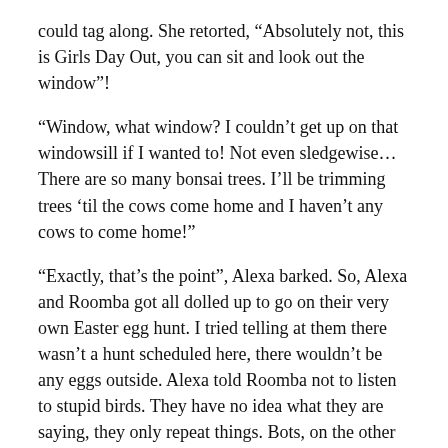could tag along. She retorted, “Absolutely not, this is Girls Day Out, you can sit and look out the window”!
“Window, what window? I couldn’t get up on that windowsill if I wanted to! Not even sledgewise…There are so many bonsai trees. I’ll be trimming trees ‘til the cows come home and I haven’t any cows to come home!”
“Exactly, that’s the point”, Alexa barked. So, Alexa and Roomba got all dolled up to go on their very own Easter egg hunt. I tried telling at them there wasn’t a hunt scheduled here, there wouldn’t be any eggs outside. Alexa told Roomba not to listen to stupid birds. They have no idea what they are saying, they only repeat things. Bots, on the other hand, go to school. They are highly internet educated. Roomba decided that if Alexa said it, it must be true. So off they went to find Easter eggs.